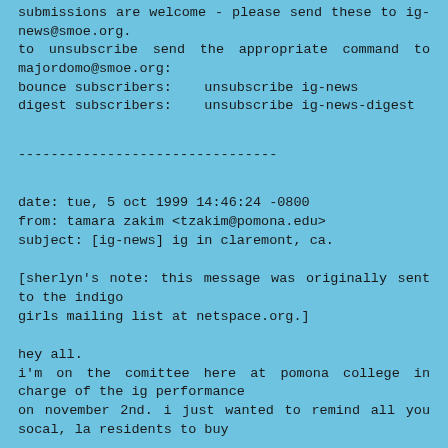submissions are welcome - please send these to ig-news@smoe.org.
to unsubscribe send the appropriate command to majordomo@smoe.org:
bounce subscribers:    unsubscribe ig-news
digest subscribers:    unsubscribe ig-news-digest
--------------------------------
date: tue, 5 oct 1999 14:46:24 -0800
from: tamara zakim <tzakim@pomona.edu>
subject: [ig-news] ig in claremont, ca.
[sherlyn's note: this message was originally sent to the indigo
girls mailing list at netspace.org.]
hey all.
i'm on the comittee here at pomona college in charge of the ig performance
on november 2nd. i just wanted to remind all you socal, la residents to buy